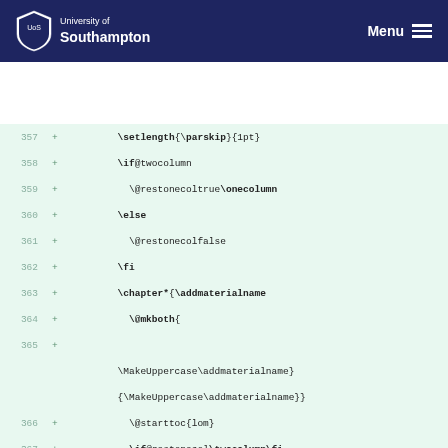University of Southampton — Menu
[Figure (screenshot): Code diff view showing LaTeX source lines 357–372 with green background additions, including setlength, if@twocolumn, onecolumn, else, restonecolfalse, fi, chapter*, @mkboth, MakeUppercase\addmaterialname, @starttoc, twocolumn, cleardoublepage, end{spacing}, newcommand\addtolom, addtocontents]